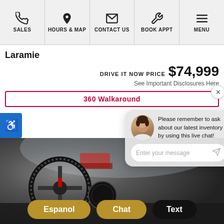SALES | HOURS & MAP | CONTACT US | BOOK APPT | MENU
Laramie
DRIVE IT NOW PRICE $74,999
See Important Disclosures Here
360 Walkaround
[Figure (screenshot): Car interior photo showing steering wheel and dashboard, used as background]
Please remember to ask about our latest inventory by using this live chat!
Enter your message
VALUE YOUR TRADE
Espanol | Chat | Text